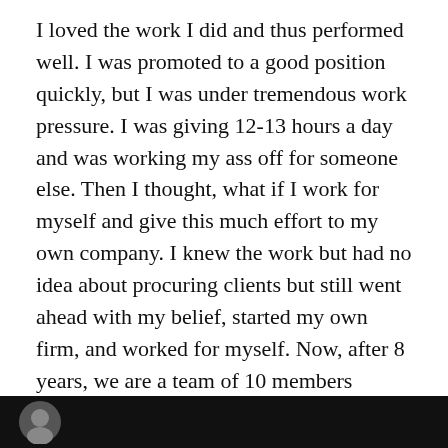I loved the work I did and thus performed well. I was promoted to a good position quickly, but I was under tremendous work pressure. I was giving 12-13 hours a day and was working my ass off for someone else. Then I thought, what if I work for myself and give this much effort to my own company. I knew the work but had no idea about procuring clients but still went ahead with my belief, started my own firm, and worked for myself. Now, after 8 years, we are a team of 10 members catering to more than 100 clients overseas.
How does SEO Power Solutions innovate?
Sharat Nair: Our innovation strategy evolves around what our clients require in the changing times.
[Figure (photo): Dark/black background strip at the bottom of the page with a partially visible circular avatar/profile image on the left side.]